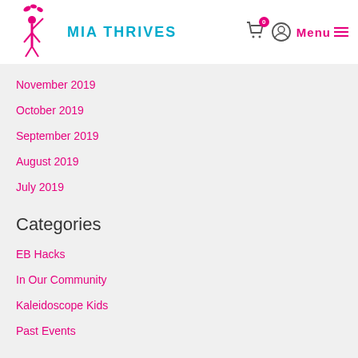Mia Thrives — Menu navigation header with cart and user icons
November 2019
October 2019
September 2019
August 2019
July 2019
Categories
EB Hacks
In Our Community
Kaleidoscope Kids
Past Events